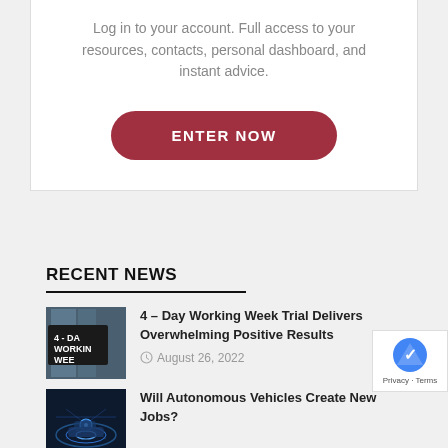Log in to your account. Full access to your resources, contacts, personal dashboard, and instant advice.
ENTER NOW
RECENT NEWS
[Figure (photo): Thumbnail photo of a sign reading '4-DA WORKIN WEE' (4-Day Working Week)]
4 – Day Working Week Trial Delivers Overwhelming Positive Results
August 26, 2022
[Figure (photo): Thumbnail photo of a blue digital/autonomous vehicle graphic]
Will Autonomous Vehicles Create New Jobs?